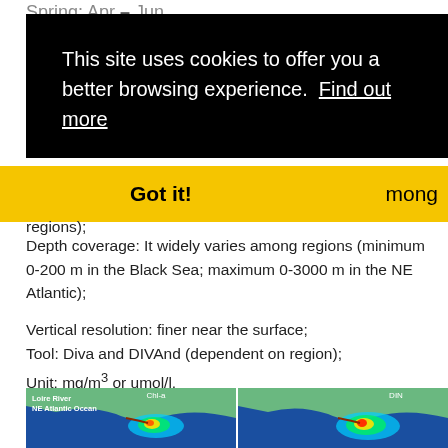Spring: Apr – Jun
This site uses cookies to offer you a better browsing experience. Find out more
Got it!   …mong regions);
Depth coverage: It widely varies among regions (minimum 0-200 m in the Black Sea; maximum 0-3000 m in the NE Atlantic);
Vertical resolution: finer near the surface;
Tool: Diva and DIVAnd (dependent on region);
Unit: mg/m³ or umol/l.
[Figure (map): Two side-by-side oceanographic maps showing Loire River / NE Atlantic Ocean region. Left map labeled 'Chl-a', right map labeled 'DIN'. Both show a coastal area with color gradient from blue (low) through green to red/orange (high concentration) near the river mouth.]